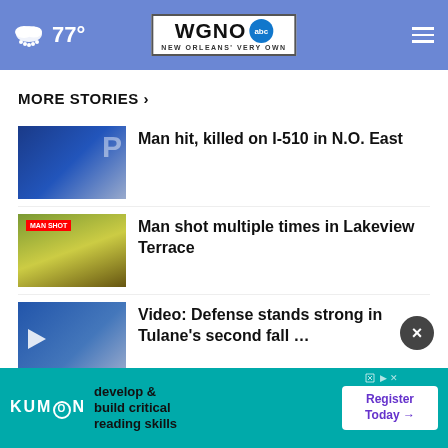WGNO ABC - NEW ORLEANS' VERY OWN | 77°
MORE STORIES ›
Man hit, killed on I-510 in N.O. East
Man shot multiple times in Lakeview Terrace
Video: Defense stands strong in Tulane's second fall …
4 shootings, 5 wounded, 1 dead
[Figure (screenshot): Partial news story thumbnail — person photo visible at bottom left]
[Figure (infographic): Advertisement banner: Kumon — develop & build critical reading skills | Register Today →]